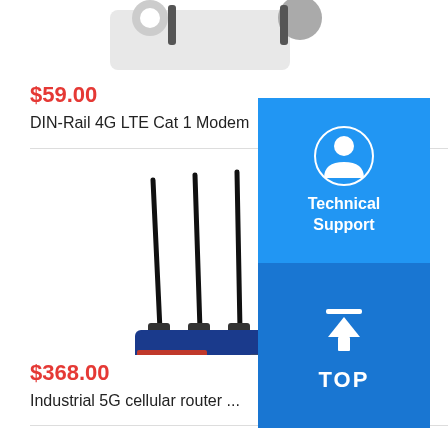[Figure (photo): Partial view of a small device with mounting hardware at top of left column]
$59.00
DIN-Rail 4G LTE Cat 1 Modem
[Figure (photo): Industrial 5G cellular router with 6 antennas, blue and orange body, multiple LAN ports]
$368.00
Industrial 5G cellular router ...
|  |  |
| --- | --- |
| Package mechanism | Packag... |
|  | Pa... len... |
| Oth... |  |
|  | Cer... |
[Figure (infographic): Blue overlay box with Technical Support icon (person silhouette) and TOP button with upward arrow]